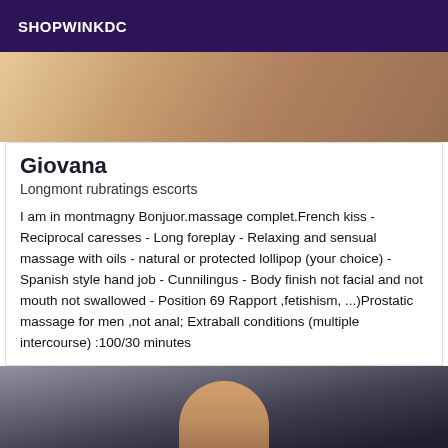SHOPWINKDC
[Figure (photo): Top portion of a photo, warm tones, appears to be a partial body or room shot]
Giovana
Longmont rubratings escorts
I am in montmagny Bonjuor.massage complet.French kiss - Reciprocal caresses - Long foreplay - Relaxing and sensual massage with oils - natural or protected lollipop (your choice) - Spanish style hand job - Cunnilingus - Body finish not facial and not mouth not swallowed - Position 69 Rapport ,fetishism, ...)Prostatic massage for men ,not anal; Extraball conditions (multiple intercourse) :100/30 minutes
[Figure (photo): Bottom photo showing a woman with dark hair and earrings wearing dark clothing]